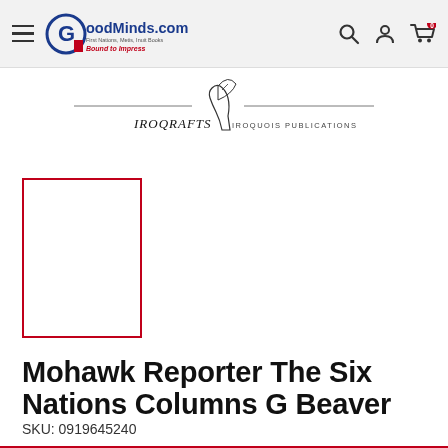GoodMinds.com — First Nations, Metis, Inuit Books — Bound to Impress
[Figure (logo): Iroquafts / Iroquois Publications publisher logo: line art of a hand holding a pen over horizontal rules, with text IROQRAFTS and IROQUOIS PUBLICATIONS]
[Figure (other): Book cover placeholder — empty white rectangle with red border]
Mohawk Reporter The Six Nations Columns G Beaver
SKU: 0919645240